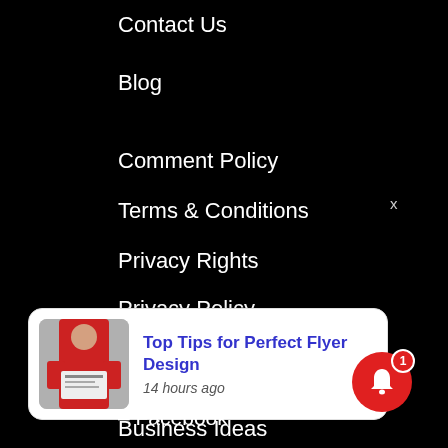Contact Us
Blog
Comment Policy
Terms & Conditions
Privacy Rights
Privacy Policy
Follow Us On
– Google News
– Facebook
x
[Figure (screenshot): Notification card showing a person in a red sweater holding flyers, with title 'Top Tips for Perfect Flyer Design' and timestamp '14 hours ago']
Business Ideas